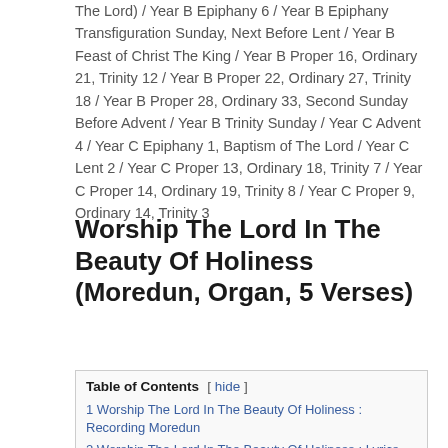The Lord) / Year B Epiphany 6 / Year B Epiphany Transfiguration Sunday, Next Before Lent / Year B Feast of Christ The King / Year B Proper 16, Ordinary 21, Trinity 12 / Year B Proper 22, Ordinary 27, Trinity 18 / Year B Proper 28, Ordinary 33, Second Sunday Before Advent / Year B Trinity Sunday / Year C Advent 4 / Year C Epiphany 1, Baptism of The Lord / Year C Lent 2 / Year C Proper 13, Ordinary 18, Trinity 7 / Year C Proper 14, Ordinary 19, Trinity 8 / Year C Proper 9, Ordinary 14, Trinity 3
Worship The Lord In The Beauty Of Holiness (Moredun, Organ, 5 Verses)
Table of Contents
1 Worship The Lord In The Beauty Of Holiness : Recording Moredun
2 Worship The Lord In The Beauty Of Holiness : Lyrics